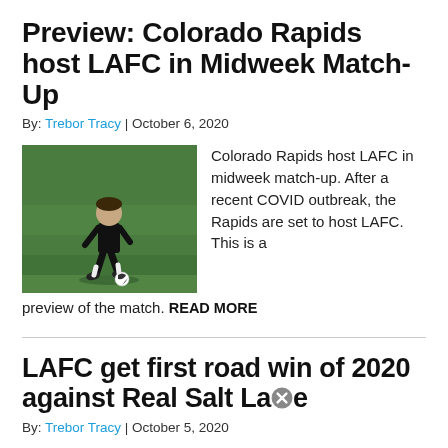Preview: Colorado Rapids host LAFC in Midweek Match-Up
By: Trebor Tracy | October 6, 2020
[Figure (photo): Soccer player in black uniform dribbling ball on green field]
Colorado Rapids host LAFC in midweek match-up. After a recent COVID outbreak, the Rapids are set to host LAFC. This is a preview of the match. READ MORE
LAFC get first road win of 2020 against Real Salt Lake
By: Trebor Tracy | October 5, 2020